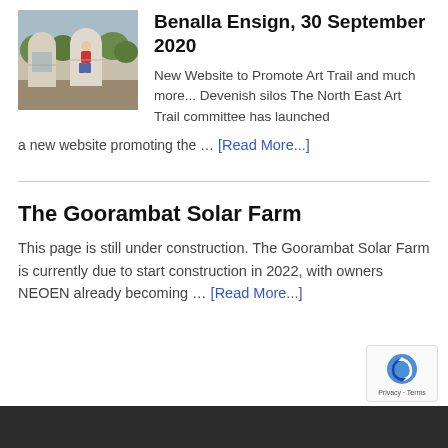[Figure (photo): Photo of painted silos/cylindrical structures with mural artwork, outdoor setting with trees in background]
Benalla Ensign, 30 September 2020
New Website to Promote Art Trail and much more... Devenish silos The North East Art Trail committee has launched a new website promoting the … [Read More...]
The Goorambat Solar Farm
This page is still under construction. The Goorambat Solar Farm is currently due to start construction in 2022, with owners NEOEN already becoming … [Read More...]